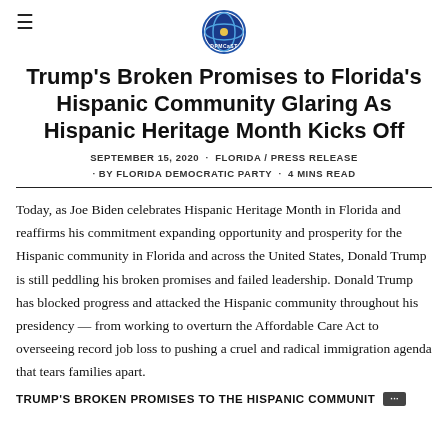DPCast logo and hamburger menu
Trump's Broken Promises to Florida's Hispanic Community Glaring As Hispanic Heritage Month Kicks Off
SEPTEMBER 15, 2020 · FLORIDA / PRESS RELEASE · BY FLORIDA DEMOCRATIC PARTY · 4 MINS READ
Today, as Joe Biden celebrates Hispanic Heritage Month in Florida and reaffirms his commitment expanding opportunity and prosperity for the Hispanic community in Florida and across the United States, Donald Trump is still peddling his broken promises and failed leadership. Donald Trump has blocked progress and attacked the Hispanic community throughout his presidency — from working to overturn the Affordable Care Act to overseeing record job loss to pushing a cruel and radical immigration agenda that tears families apart.
TRUMP'S BROKEN PROMISES TO THE HISPANIC COMMUNIT…